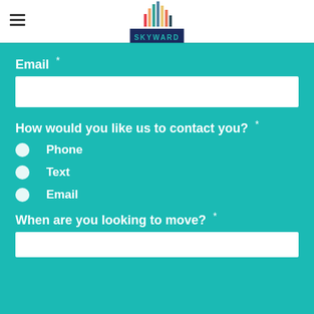[Figure (logo): Skyward logo with colorful vertical bars above a dark blue box with teal 'SKYWARD' text]
Email *
How would you like us to contact you? *
Phone
Text
Email
When are you looking to move? *